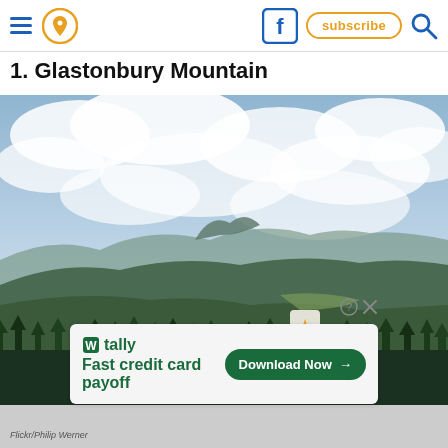Navigation header with hamburger menu, location pin icon, Facebook icon, subscribe button, and search icon
1. Glastonbury Mountain
[Figure (photo): Panoramic view from Glastonbury Mountain summit showing green forested hills, a distant mountain peak, and a broad cloudy sky with blue patches]
[Figure (infographic): Advertisement for Tally app: 'Fast credit card payoff' with a green Download Now button]
Flickr/Philip Werner